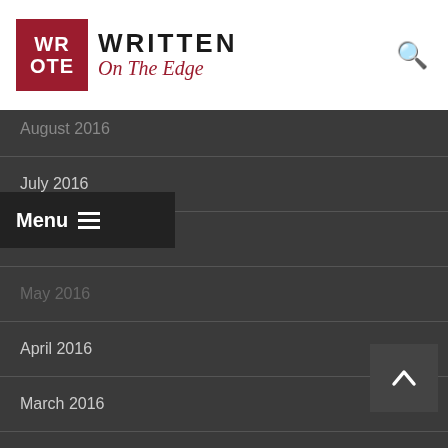[Figure (logo): Written On The Edge website logo with red square icon showing WR/OTE and site name]
August 2016
July 2016
June 2016
May 2016
April 2016
March 2016
February 2016
January 2016
December 2015
November 2015
October 2015